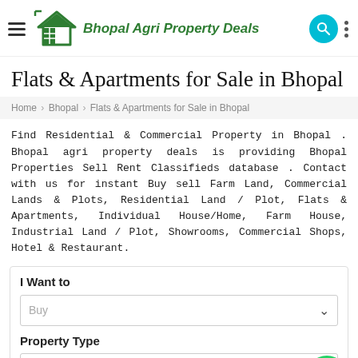[Figure (logo): Bhopal Agri Property Deals logo with house icon, hamburger menu, search and more icons in header]
Flats & Apartments for Sale in Bhopal
Home › Bhopal › Flats & Apartments for Sale in Bhopal
Find Residential & Commercial Property in Bhopal . Bhopal agri property deals is providing Bhopal Properties Sell Rent Classifieds database . Contact with us for instant Buy sell Farm Land, Commercial Lands & Plots, Residential Land / Plot, Flats & Apartments, Individual House/Home, Farm House, Industrial Land / Plot, Showrooms, Commercial Shops, Hotel & Restaurant.
I Want to
Buy
Property Type
~Flats & Apartments